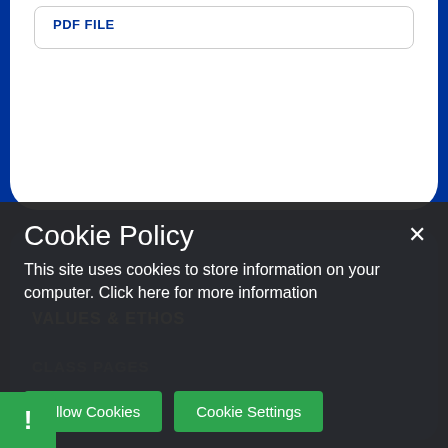PDF FILE
VALUES & ETHOS
CLASS PAGES
Cookie Policy
This site uses cookies to store information on your computer. Click here for more information
Allow Cookies
Cookie Settings